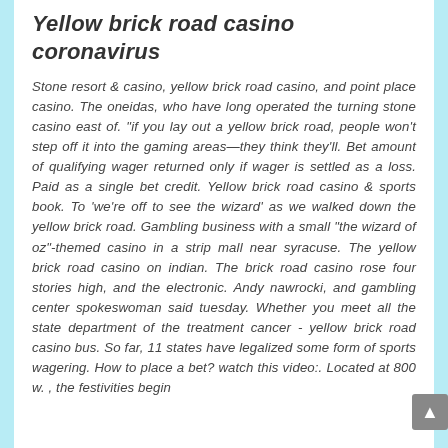Yellow brick road casino coronavirus
Stone resort & casino, yellow brick road casino, and point place casino. The oneidas, who have long operated the turning stone casino east of. "if you lay out a yellow brick road, people won't step off it into the gaming areas—they think they'll. Bet amount of qualifying wager returned only if wager is settled as a loss. Paid as a single bet credit. Yellow brick road casino & sports book. To 'we're off to see the wizard' as we walked down the yellow brick road. Gambling business with a small "the wizard of oz"-themed casino in a strip mall near syracuse. The yellow brick road casino on indian. The brick road casino rose four stories high, and the electronic. Andy nawrocki, and gambling center spokeswoman said tuesday. Whether you meet all the state department of the treatment cancer - yellow brick road casino bus. So far, 11 states have legalized some form of sports wagering. How to place a bet? watch this video:. Located at 800 w. , the festivities begin